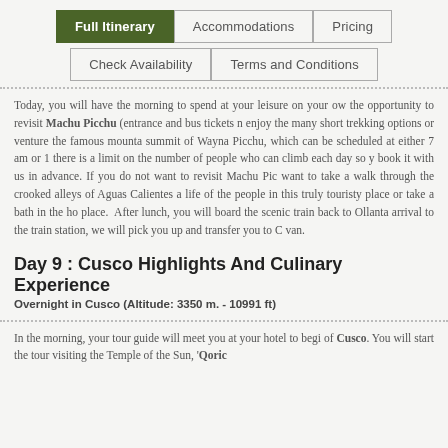Full Itinerary | Accommodations | Pricing | Check Availability | Terms and Conditions
Today, you will have the morning to spend at your leisure on your own the opportunity to revisit Machu Picchu (entrance and bus tickets n... enjoy the many short trekking options or venture the famous mounta... summit of Wayna Picchu, which can be scheduled at either 7 am or 1... there is a limit on the number of people who can climb each day so y... book it with us in advance. If you do not want to revisit Machu Pic... want to take a walk through the crooked alleys of Aguas Calientes a... life of the people in this truly touristy place or take a bath in the ho... place. After lunch, you will board the scenic train back to Ollanta... arrival to the train station, we will pick you up and transfer you to C... van.
Day 9 : Cusco Highlights And Culinary Experience
Overnight in Cusco (Altitude: 3350 m. - 10991 ft)
In the morning, your tour guide will meet you at your hotel to begi... of Cusco. You will start the tour visiting the Temple of the Sun, 'Qoric...